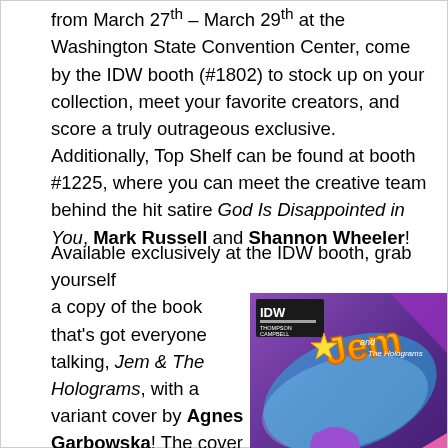from March 27th – March 29th at the Washington State Convention Center, come by the IDW booth (#1802) to stock up on your collection, meet your favorite creators, and score a truly outrageous exclusive. Additionally, Top Shelf can be found at booth #1225, where you can meet the creative team behind the hit satire God Is Disappointed in You, Mark Russell and Shannon Wheeler!
Available exclusively at the IDW booth, grab yourself a copy of the book that's got everyone talking, Jem & The Holograms, with a variant cover by Agnes Garbowska! The cover can be purchased for $5, limit
[Figure (illustration): Book cover for Jem and the Holograms showing IDW logo at top left, colorful comic art with the Jem and the Holograms title logo in yellow/orange gradient text, purple and pink background, a female character with purple hair holding drumsticks in the foreground]